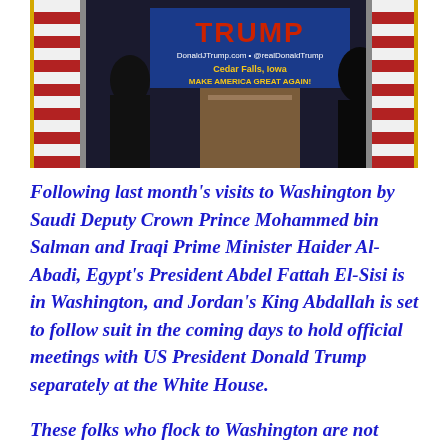[Figure (photo): Photo of a Trump campaign event podium with 'TRUMP' sign, DonaldJTrump.com, @realDonaldTrump, Cedar Falls, Iowa, MAKE AMERICA GREAT AGAIN text visible, American flags in background, people standing near podium.]
Following last month's visits to Washington by Saudi Deputy Crown Prince Mohammed bin Salman and Iraqi Prime Minister Haider Al-Abadi, Egypt's President Abdel Fattah El-Sisi is in Washington, and Jordan's King Abdallah is set to follow suit in the coming days to hold official meetings with US President Donald Trump separately at the White House.
These folks who flock to Washington are not Sheeps, rather Goats and Snakes. The God of Abraham, Isaac & Jacob is not on their side. They know it. Egypt is in a panic mode over THE NILE – and it will play the